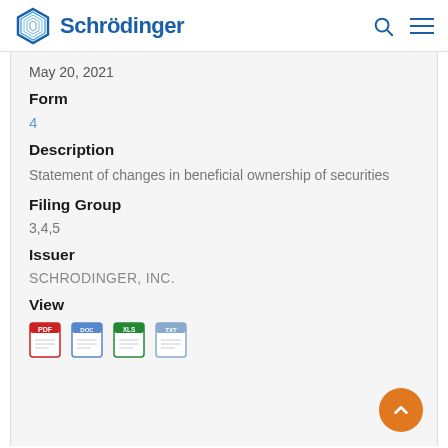Schrödinger
May 20, 2021
Form
4
Description
Statement of changes in beneficial ownership of securities
Filing Group
3,4,5
Issuer
SCHRODINGER, INC.
View
[Figure (infographic): Row of four document-type icon buttons for viewing the filing]